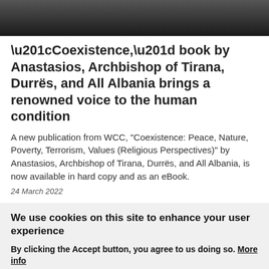[Figure (photo): Dark close-up photo strip showing partial image of a person, appearing to be a religious figure, against a dark background]
“Coexistence,” book by Anastasios, Archbishop of Tirana, Durrës, and All Albania brings a renowned voice to the human condition
A new publication from WCC, “Coexistence: Peace, Nature, Poverty, Terrorism, Values (Religious Perspectives)” by Anastasios, Archbishop of Tirana, Durrës, and All Albania, is now available in hard copy and as an eBook.
24 March 2022
We use cookies on this site to enhance your user experience
By clicking the Accept button, you agree to us doing so. More info